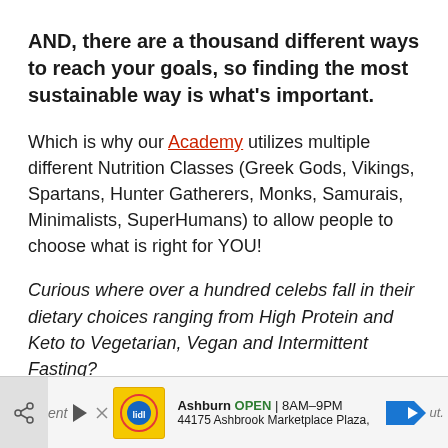AND, there are a thousand different ways to reach your goals, so finding the most sustainable way is what's important.
Which is why our Academy utilizes multiple different Nutrition Classes (Greek Gods, Vikings, Spartans, Hunter Gatherers, Monks, Samurais, Minimalists, SuperHumans) to allow people to choose what is right for YOU!
Curious where over a hundred celebs fall in their dietary choices ranging from High Protein and Keto to Vegetarian, Vegan and Intermittent Fasting?
[Figure (other): Advertisement banner at the bottom: Lidl store ad showing Ashburn OPEN 8AM-9PM, 44175 Ashbrook Marketplace Plaza, with navigation arrow icon. Partially overlaps with italic text paragraph.]